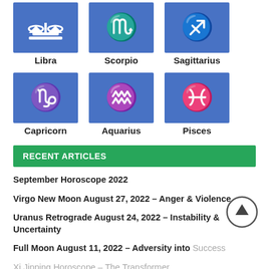[Figure (illustration): Zodiac sign icons grid row 1: Libra, Scorpio, Sagittarius - blue square icons with white symbols]
Libra   Scorpio   Sagittarius
[Figure (illustration): Zodiac sign icons grid row 2: Capricorn, Aquarius, Pisces - blue square icons with white symbols]
Capricorn   Aquarius   Pisces
RECENT ARTICLES
September Horoscope 2022
Virgo New Moon August 27, 2022 – Anger & Violence
Uranus Retrograde August 24, 2022 – Instability & Uncertainty
Full Moon August 11, 2022 – Adversity into Success
Xi Jinping Horoscope – The Transformer